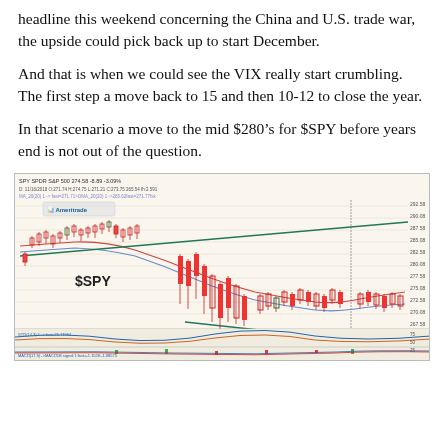headline this weekend concerning the China and U.S. trade war, the upside could pick back up to start December.
And that is when we could see the VIX really start crumbling. The first step a move back to 15 and then 10-12 to close the year.
In that scenario a move to the mid $280’s for $SPY before years end is not out of the question.
[Figure (screenshot): Candlestick chart of $SPY (SPDR S&P 500) showing price action with moving averages, trend lines, MACD and stochastic indicators. Price ranges approximately 260-292. Chart from TD Ameritrade platform dated 11/16/2018. Shows a downtrend with red candles dominant in the right portion. Green converging trendlines visible. MACD and stochastic oscillators shown at bottom.]